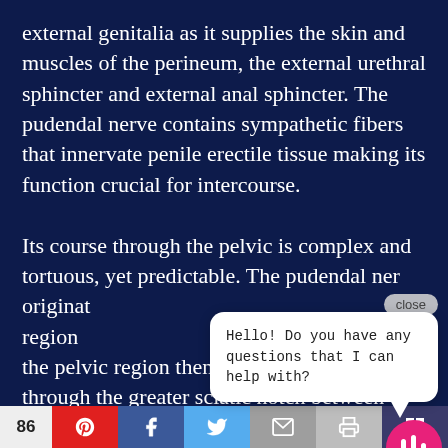external genitalia as it supplies the skin and muscles of the perineum, the external urethral sphincter and external anal sphincter. The pudendal nerve contains sympathetic fibers that innervate penile erectile tissue making its function crucial for intercourse.

Its course through the pelvic is complex and tortuous, yet predictable. The pudendal nerve originates region of the pelvic region then exiting the pelvis through the greater sciatic notch between piriformis and coccygeus muscles. It curves
[Figure (screenshot): Chat popup overlay reading 'Hello! Do you have any questions that I can help with?' with a close button and a pink chat icon button]
86